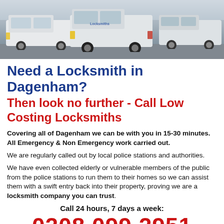[Figure (photo): A row of white branded vans parked in a car park, viewed from the front-left angle.]
Need a Locksmith in Dagenham? Then look no further - Call Low Costing Locksmiths
Covering all of Dagenham we can be with you in 15-30 minutes. All Emergency & Non Emergency work carried out.
We are regularly called out by local police stations and authorities.
We have even collected elderly or vulnerable members of the public from the police stations to run them to their homes so we can assist them with a swift entry back into their property, proving we are a locksmith company you can trust.
Call 24 hours, 7 days a week:
0208 099 2951
We GUARANTEE to beat any price